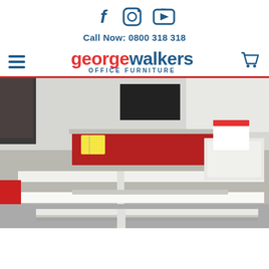[Figure (logo): Social media icons: Facebook, Instagram, YouTube in dark blue]
Call Now: 0800 318 318
[Figure (logo): George Walkers Office Furniture logo with hamburger menu and shopping cart icons]
[Figure (photo): Photo of office furniture showroom with white bench desks and red privacy panels]